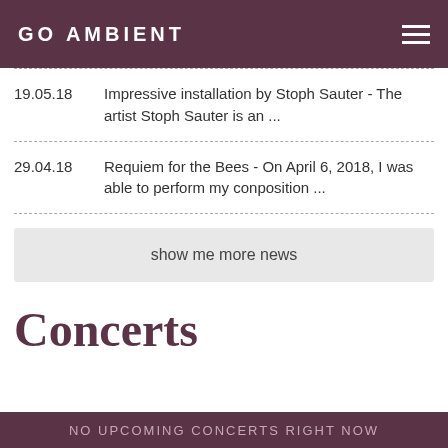GO AMBIENT
19.05.18  Impressive installation by Stoph Sauter - The artist Stoph Sauter is an ...
29.04.18  Requiem for the Bees - On April 6, 2018, I was able to perform my conposition ...
show me more news
Concerts
NO UPCOMING CONCERTS RIGHT NOW